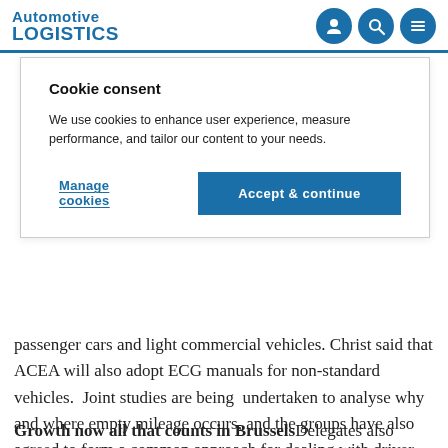Automotive LOGISTICS
Cookie consent
We use cookies to enhance user experience, measure performance, and tailor our content to your needs.
Manage cookies | Accept & continue
passenger cars and light commercial vehicles. Christ said that ACEA will also adopt ECG manuals for non-standard vehicles. Joint studies are being undertaken to analyse why and where empty mileage occurs, and the groups have also agreed to form a common approach for dealing with driver shortages and promoting innovation.
Growth now all that counts in Brussels Delegates also heard